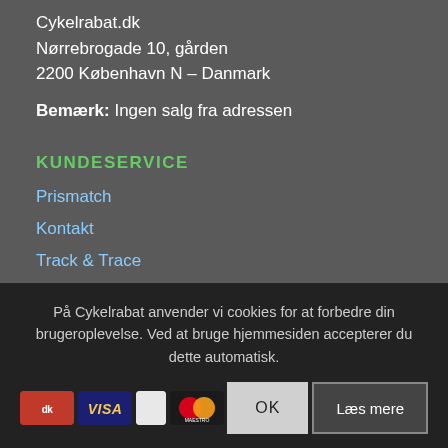Cykelrabat.dk
Nørrebrogade 10, gården
2200 København N – Danmark
Bemærk: Ingen salg fra adressen
KUNDESERVICE
Prismatch
Kontakt
Track & Trace
Finansiering
På Cykelrabat anvender vi cookies for at forbedre din brugeroplevelse. Ved at bruge hjemmesiden accepterer du dette automatisk.
[Figure (other): Payment method icons: Dankort, VISA, partial icon, Mastercard]
OK
Læs mere